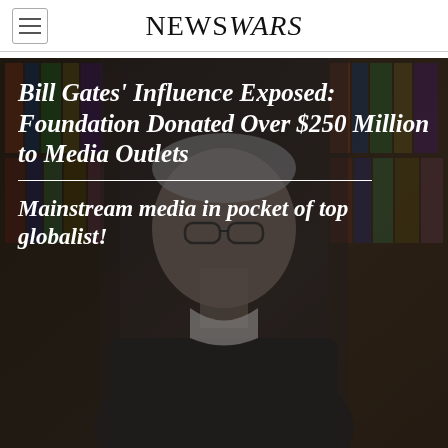NEWSWARS
[Figure (photo): Photo of an older man with gray hair and glasses, wearing a dark sweater, sitting in front of bookshelves. Overlaid with bold italic white text headline and subheadline.]
Bill Gates' Influence Exposed: Foundation Donated Over $250 Million to Media Outlets
Mainstream media in pocket of top globalist!